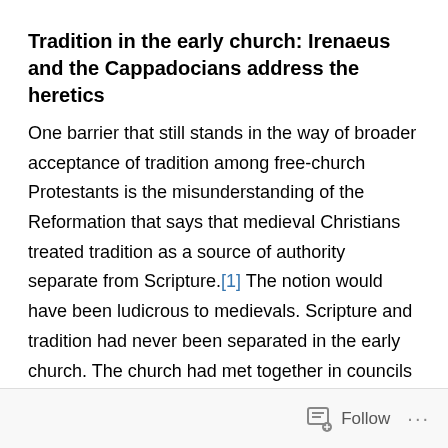Tradition in the early church: Irenaeus and the Cappadocians address the heretics
One barrier that still stands in the way of broader acceptance of tradition among free-church Protestants is the misunderstanding of the Reformation that says that medieval Christians treated tradition as a source of authority separate from Scripture.[1] The notion would have been ludicrous to medievals. Scripture and tradition had never been separated in the early church. The church had met together in councils repeatedly to discern the meanings of Scripture. The resulting creeds (elaborated out of long-repeated local church creeds that developed out of the heart of worship) became part of tradition, as protections against wildfire teachings such as Arianism,
Follow ···